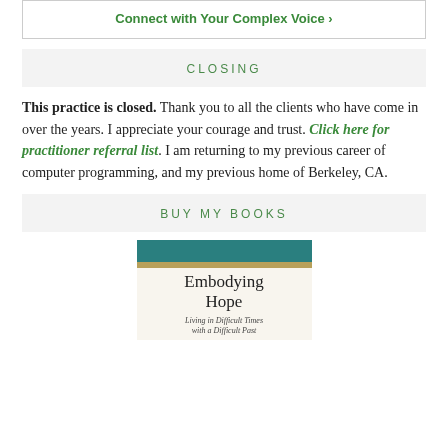Connect with Your Complex Voice ›
CLOSING
This practice is closed. Thank you to all the clients who have come in over the years. I appreciate your courage and trust. Click here for practitioner referral list. I am returning to my previous career of computer programming, and my previous home of Berkeley, CA.
BUY MY BOOKS
[Figure (illustration): Book cover for 'Embodying Hope: Living in Difficult Times with a Difficult Past'. Teal header bar at top, gold accent bar, cream/off-white background with title and subtitle text.]